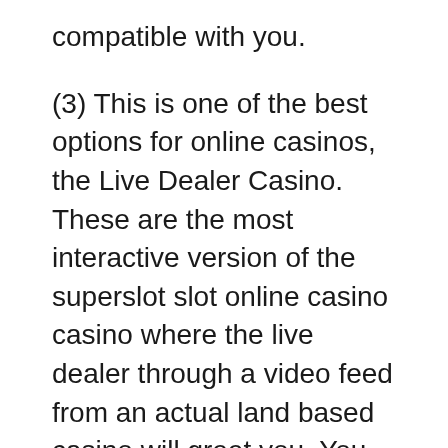compatible with you.
(3) This is one of the best options for online casinos, the Live Dealer Casino. These are the most interactive version of the superslot slot online casino casino where the live dealer through a video feed from an actual land based casino will greet you. You can interact with the dealer and with many other players who may be playing check out page table. Live dealer casinos will have a real casino experience and never have to leave your personal home.
The next most important tip to enable you to avoid emptying your family savings is collection a limit on what amount you desire to spend. Casino wars were designed, after